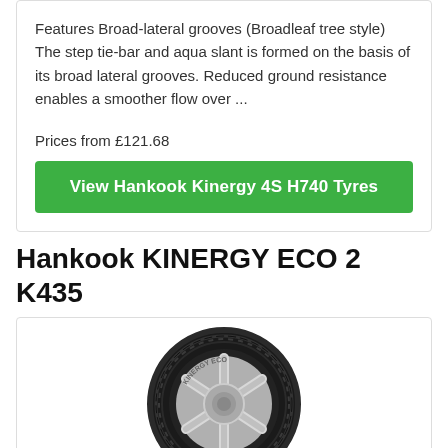Features Broad-lateral grooves (Broadleaf tree style) The step tie-bar and aqua slant is formed on the basis of its broad lateral grooves. Reduced ground resistance enables a smoother flow over ...
Prices from £121.68
View Hankook Kinergy 4S H740 Tyres
Hankook KINERGY ECO 2 K435
[Figure (photo): Hankook KINERGY ECO 2 K435 tyre image showing a black tyre with silver alloy wheel spokes]